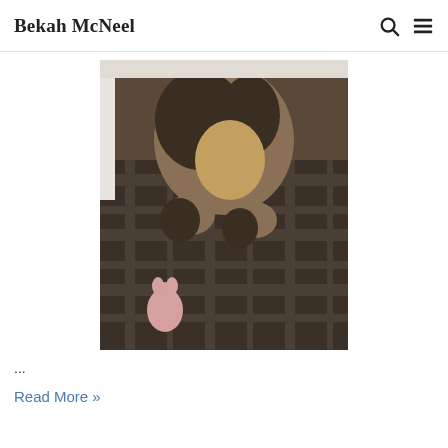Bekah McNeel
[Figure (photo): A beagle puppy lying on its back on a plaid blanket, with a small stuffed rabbit toy nearby]
...
Read More »